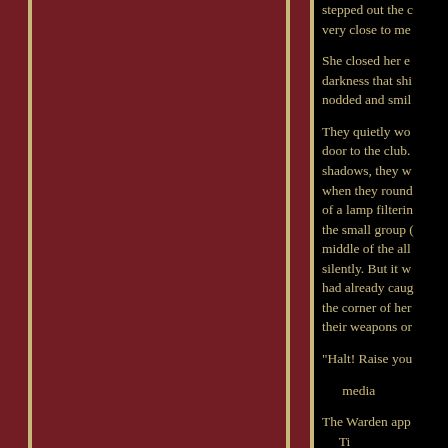[Figure (illustration): Decorative page layout with dark maroon/red left panel separated from black right text area by thin gold vertical stripes]
stepped out the d… very close to me
She closed her e… darkness that shi… nodded and smil…
They quietly wo… door to the club. shadows, they w… when they round… of a lamp filterin… the small group … middle of the all… silently. But it w… had already caug… the corner of her… their weapons or…
"Halt! Raise you…
…media…
The Warden app… …Ti…